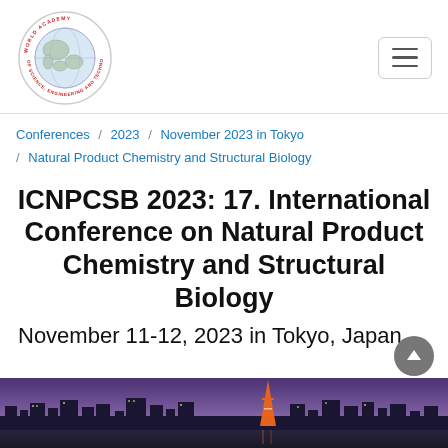[Figure (logo): World Academy of Science, Engineering and Technology circular logo with globe illustration]
Conferences / 2023 / November 2023 in Tokyo / Natural Product Chemistry and Structural Biology
ICNPCSB 2023: 17. International Conference on Natural Product Chemistry and Structural Biology
November 11-12, 2023 in Tokyo, Japan
[Figure (photo): Tokyo city skyline at dusk with Tokyo Tower and purple sky]